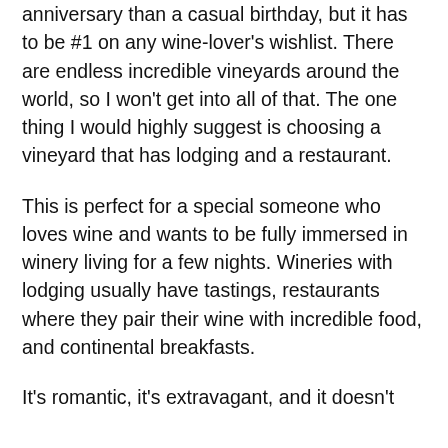anniversary than a casual birthday, but it has to be #1 on any wine-lover's wishlist. There are endless incredible vineyards around the world, so I won't get into all of that. The one thing I would highly suggest is choosing a vineyard that has lodging and a restaurant.
This is perfect for a special someone who loves wine and wants to be fully immersed in winery living for a few nights. Wineries with lodging usually have tastings, restaurants where they pair their wine with incredible food, and continental breakfasts.
It's romantic, it's extravagant, and it doesn't